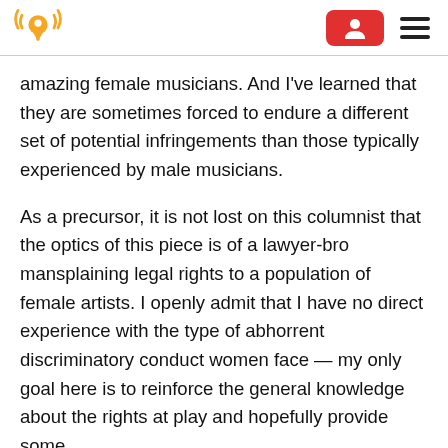[Logo: audio/location icon] [Red button with user icon] [Hamburger menu]
amazing female musicians. And I've learned that they are sometimes forced to endure a different set of potential infringements than those typically experienced by male musicians.
As a precursor, it is not lost on this columnist that the optics of this piece is of a lawyer-bro mansplaining legal rights to a population of female artists. I openly admit that I have no direct experience with the type of abhorrent discriminatory conduct women face — my only goal here is to reinforce the general knowledge about the rights at play and hopefully provide some